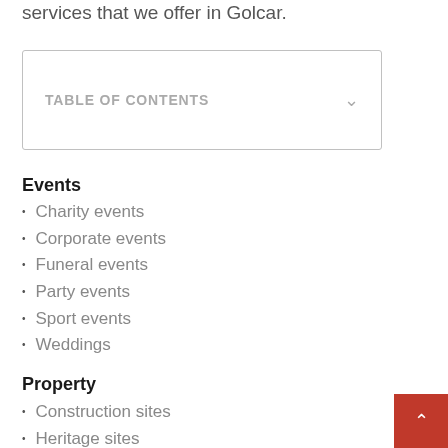services that we offer in Golcar.
TABLE OF CONTENTS
Events
Charity events
Corporate events
Funeral events
Party events
Sport events
Weddings
Property
Construction sites
Heritage sites